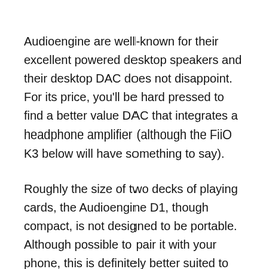Audioengine are well-known for their excellent powered desktop speakers and their desktop DAC does not disappoint. For its price, you'll be hard pressed to find a better value DAC that integrates a headphone amplifier (although the FiiO K3 below will have something to say).
Roughly the size of two decks of playing cards, the Audioengine D1, though compact, is not designed to be portable. Although possible to pair it with your phone, this is definitely better suited to replacing your computer's internal soundcard.